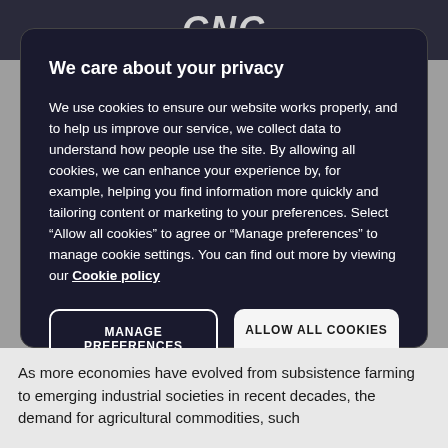CNC
We care about your privacy
We use cookies to ensure our website works properly, and to help us improve our service, we collect data to understand how people use the site. By allowing all cookies, we can enhance your experience by, for example, helping you find information more quickly and tailoring content or marketing to your preferences. Select “Allow all cookies” to agree or “Manage preferences” to manage cookie settings. You can find out more by viewing our Cookie policy
MANAGE PREFERENCES
ALLOW ALL COOKIES
As more economies have evolved from subsistence farming to emerging industrial societies in recent decades, the demand for agricultural commodities, such